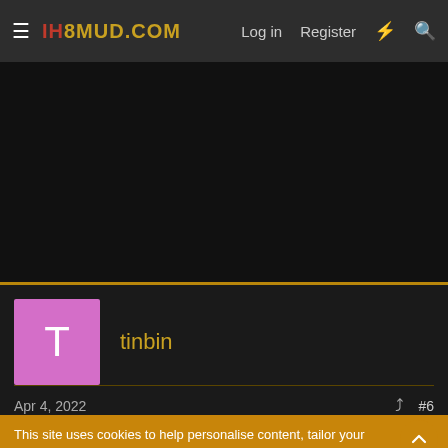IH8MUD.COM — Log in  Register
[Figure (screenshot): Dark advertisement banner area]
tinbin
Apr 4, 2022   #6
This site uses cookies to help personalise content, tailor your experience and to keep you logged in if you register.
By continuing to use this site, you are consenting to our use of cookies.
✓ Accept   Learn more...
[Figure (screenshot): Advertisement banner: dormanproducts.com — Comprehensive VVT Coverage — OPEN button]